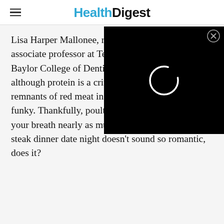Health Digest
[Figure (other): Black video player overlay with a white loading spinner ring in the center, and a close (X) button in the top right corner]
Lisa Harper Mallonee, registered dietitian and associate professor at Texas A&M University, Baylor College of Dentistry, told Men's Health that although protein is a critical part of your diet, the remnants of red meat in your teeth can smell pretty funky. Thankfully, poultry and fish don't impact your breath nearly as much. Hm, suddenly that steak dinner date night doesn't sound so romantic, does it?